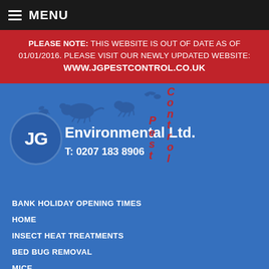MENU
PLEASE NOTE: THIS WEBSITE IS OUT OF DATE AS OF 01/01/2016. PLEASE VISIT OUR NEWLY UPDATED WEBSITE: WWW.JGPESTCONTROL.CO.UK
[Figure (logo): JG Environmental Pest Control Ltd. logo on blue background with animal silhouettes and vertical 'Pest Control' text in red. Phone number T: 0207 183 8906 shown.]
BANK HOLIDAY OPENING TIMES
HOME
INSECT HEAT TREATMENTS
BED BUG REMOVAL
MICE
RATS
WASPS
SQUIRRELS